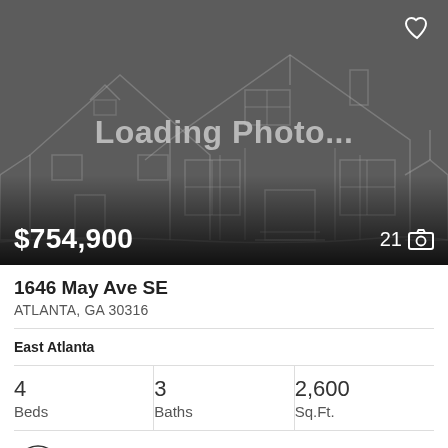[Figure (screenshot): Real estate listing card showing a loading placeholder photo with a house outline illustration on a dark gray background. A heart/favorite icon is in the top right. The price $754,900 is shown bottom left and '21' with a camera icon bottom right.]
1646 May Ave SE
ATLANTA, GA 30316
East Atlanta
4 Beds   3 Baths   2,600 Sq.Ft.
Bolst, Inc.